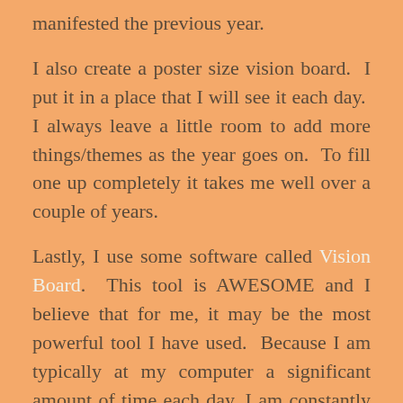manifested the previous year.
I also create a poster size vision board.  I put it in a place that I will see it each day.  I always leave a little room to add more things/themes as the year goes on.  To fill one up completely it takes me well over a couple of years.
Lastly, I use some software called Vision Board.  This tool is AWESOME and I believe that for me, it may be the most powerful tool I have used.  Because I am typically at my computer a significant amount of time each day, I am constantly reminded about my goals and affirmations.  The tool is unique because it offers a library of affirmations, images, a